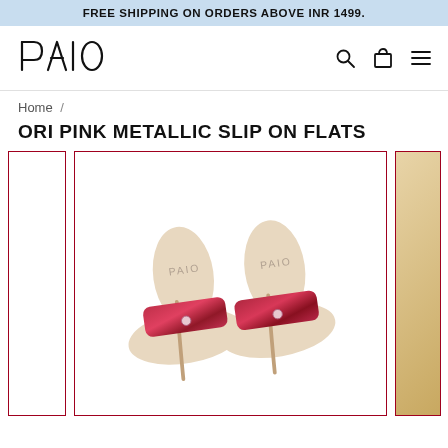FREE SHIPPING ON ORDERS ABOVE INR 1499.
[Figure (logo): PAIO brand logo text]
Home /
ORI PINK METALLIC SLIP ON FLATS
[Figure (photo): Two pink metallic slip-on flat sandals with thong strap and PAIO branded footbed, viewed from above]